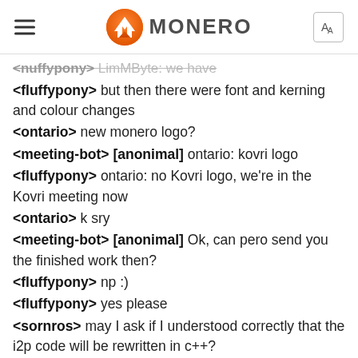MONERO
<nuffypony> LimMByte: we have
<fluffypony> but then there were font and kerning and colour changes
<ontario> new monero logo?
<meeting-bot> [anonimal] ontario: kovri logo
<fluffypony> ontario: no Kovri logo, we're in the Kovri meeting now
<ontario> k sry
<meeting-bot> [anonimal] Ok, can pero send you the finished work then?
<fluffypony> np :)
<fluffypony> yes please
<sornros> may I ask if I understood correctly that the i2p code will be rewritten in c++?
<meeting-bot> * anonimal has to move onto next